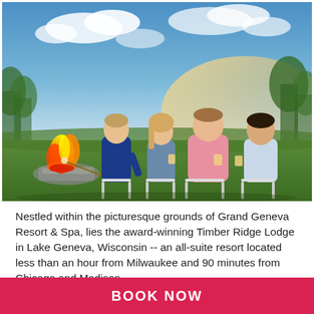[Figure (photo): Four adults sitting outdoors in folding chairs around a campfire on a grassy lawn at dusk. A man on the left in a blue shirt tends to the fire, a woman in a denim jacket holds a drink, a heavyset man in a pink shirt holds a drink, and a man in a light blue shirt holds a drink. The sky is partly cloudy with warm golden light.]
Nestled within the picturesque grounds of Grand Geneva Resort & Spa, lies the award-winning Timber Ridge Lodge in Lake Geneva, Wisconsin -- an all-suite resort located less than an hour from Milwaukee and 90 minutes from Chicago and Madison.
Featuring over 1,300 acres, the resort lends itself as not
BOOK NOW